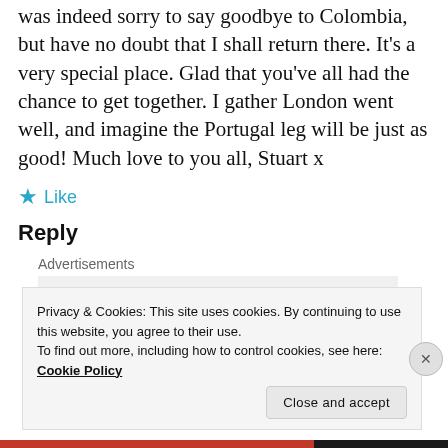was indeed sorry to say goodbye to Colombia, but have no doubt that I shall return there. It’s a very special place. Glad that you’ve all had the chance to get together. I gather London went well, and imagine the Portugal leg will be just as good! Much love to you all, Stuart x
★ Like
Reply
Advertisements
[Figure (logo): P2 logo: black square icon with white inner border square, followed by bold text 'P2']
Getting your team on
Privacy & Cookies: This site uses cookies. By continuing to use this website, you agree to their use.
To find out more, including how to control cookies, see here: Cookie Policy
Close and accept